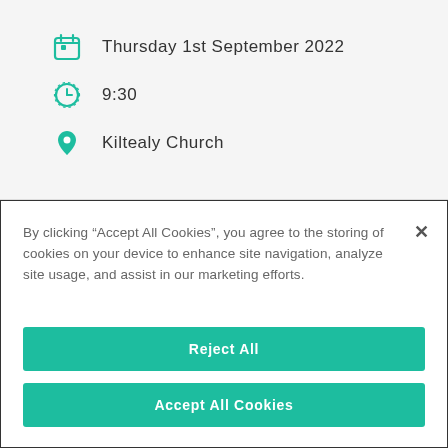Thursday 1st September 2022
9:30
Kiltealy Church
By clicking “Accept All Cookies”, you agree to the storing of cookies on your device to enhance site navigation, analyze site usage, and assist in our marketing efforts.
Reject All
Accept All Cookies